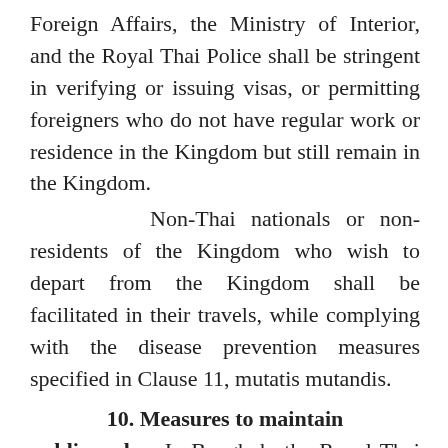Foreign Affairs, the Ministry of Interior, and the Royal Thai Police shall be stringent in verifying or issuing visas, or permitting foreigners who do not have regular work or residence in the Kingdom but still remain in the Kingdom.
Non-Thai nationals or non-residents of the Kingdom who wish to depart from the Kingdom shall be facilitated in their travels, while complying with the disease prevention measures specified in Clause 11, mutatis mutandis.
10. Measures to maintain public order:
In Bangkok, the Royal Thai Police shall have officers on duty or establish check points on roads, transportation routes, and terminals or stations, to prevent accidents, the commission of crimes, the assembly or gathering of persons in a manner that risks spreading the disease, or continuing with other...